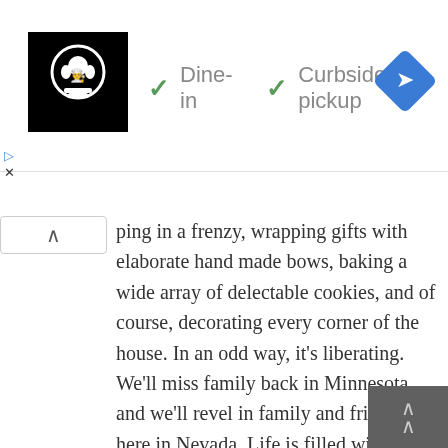[Figure (logo): Chef/cook logo icon in black and white square]
✓ Dine-in  ✓ Curbside pickup
ping in a frenzy, wrapping gifts with elaborate hand made bows, baking a wide array of delectable cookies, and of course, decorating every corner of the house. In an odd way, it's liberating.  We'll miss family back in Minnesota and we'll revel in family and friends here in Nevada.  Life is filled with trade-offs.
Soon, we'll head to our two dentist appointments for our final cleanings, then off to the travel clinic for Tom's final Twinrix vaccine.  Then, to the grocery store for the ingredients for the lesser amount of baking, I'll do this year.
It won't be gluten-free, low carb, sugar-free, grain-free, starch-free.  It will be delicious, fattening, gooey, filling up